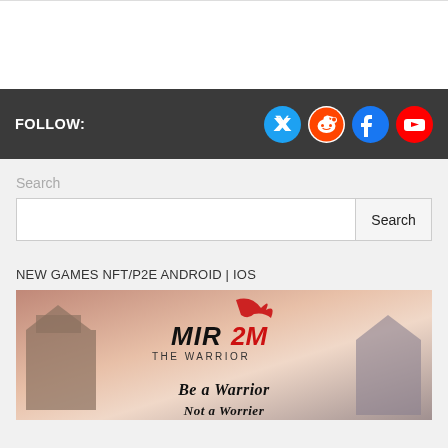FOLLOW:
[Figure (illustration): Social media icon buttons: Twitter (blue bird), Reddit (white alien on white circle), Facebook (blue f), YouTube (red play button)]
Search
Search button
NEW GAMES NFT/P2E ANDROID | IOS
[Figure (illustration): Game banner for 'Mir2M The Warrior' with text 'BE A WARRIOR NOT A WORRIER'. Shows fantasy Asian architecture with a warrior character and dragon logo.]